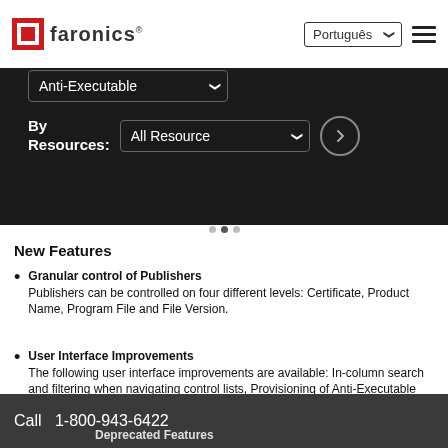[Figure (logo): Faronics logo with red square icon and company name]
[Figure (screenshot): Navigation bar with Anti-Executable dropdown and By Resources: All Resource dropdown on dark background]
New Features
Granular control of Publishers
Publishers can be controlled on four different levels: Certificate, Product Name, Program File and File Version.
User Interface Improvements
The following user interface improvements are available: In-column search and filtering when navigating control lists, Provisioning of Anti-Executable users based on local and domain accounts, and Alert dialog.
Call  1-800-943-6422
Deprecated Features